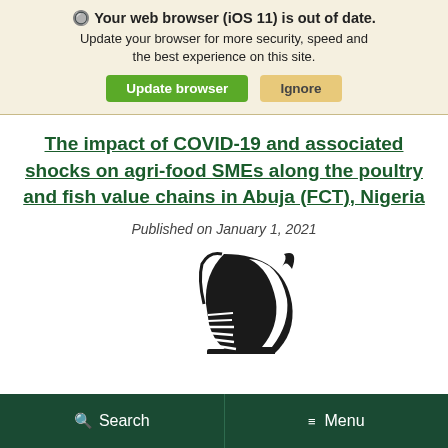🔘 Your web browser (iOS 11) is out of date. Update your browser for more security, speed and the best experience on this site.
Update browser | Ignore
The impact of COVID-19 and associated shocks on agri-food SMEs along the poultry and fish value chains in Abuja (FCT), Nigeria
Published on January 1, 2021
[Figure (logo): Michigan State University Spartan helmet logo in black and white]
Search  Menu